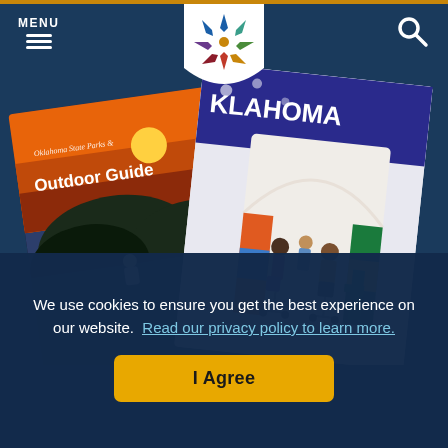MENU
[Figure (logo): Oklahoma Tourism star/snowflake logo in multiple colors on shield-shaped white badge]
[Figure (photo): Two Oklahoma travel brochures fanned out: 'Oklahoma State Parks & Outdoor Guide' showing scenic sunset over lake, and 'Oklahoma' travel guide showing people on scooters in front of colorful mural]
We use cookies to ensure you get the best experience on our website.  Read our privacy policy to learn more.
I Agree